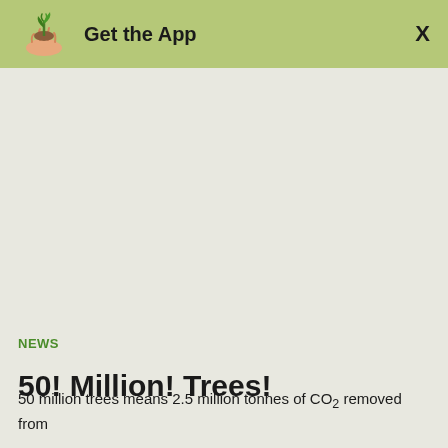Get the App
[Figure (illustration): Large blank/empty image area representing a photo placeholder in a news article]
NEWS
50! Million! Trees!
50 million trees means 2.5 million tonnes of CO2 removed from